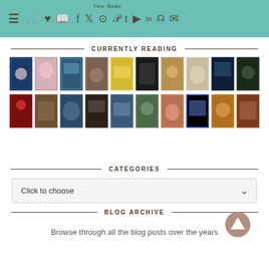Navigation bar with menu and social media icons
CURRENTLY READING
[Figure (illustration): Grid of 20 book cover thumbnails arranged in 2 rows of 10, showing various book covers in different colors and styles]
CATEGORIES
Click to choose
BLOG ARCHIVE
Browse through all the blog posts over the years